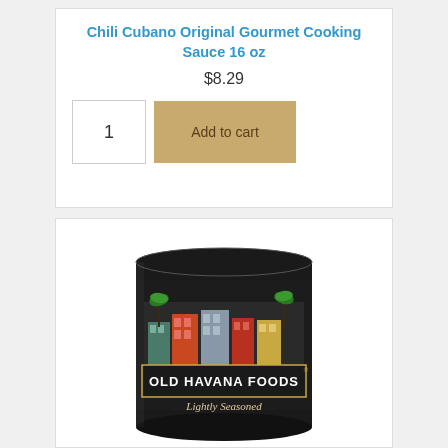Chili Cubano Original Gourmet Cooking Sauce 16 oz
$8.29
[Figure (screenshot): E-commerce product page section with quantity input showing '1' and a tan/gold 'Add to cart' button]
[Figure (photo): A can of Old Havana Foods Chili Cubano Lightly Seasoned cooking sauce, 16 oz, with a black label showing colorful Cuban-style buildings and palm trees]